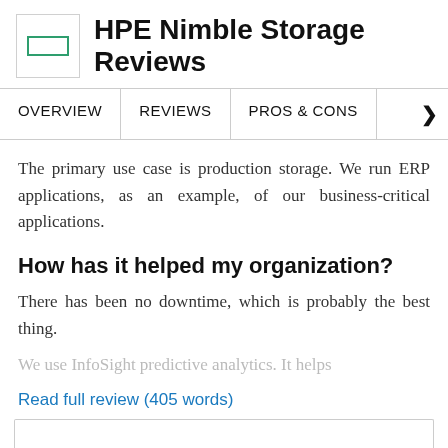HPE Nimble Storage Reviews
OVERVIEW   REVIEWS   PROS & CONS
The primary use case is production storage. We run ERP applications, as an example, of our business-critical applications.
How has it helped my organization?
There has been no downtime, which is probably the best thing.
We use InfoSight predictive analytics. It helps
Read full review (405 words)